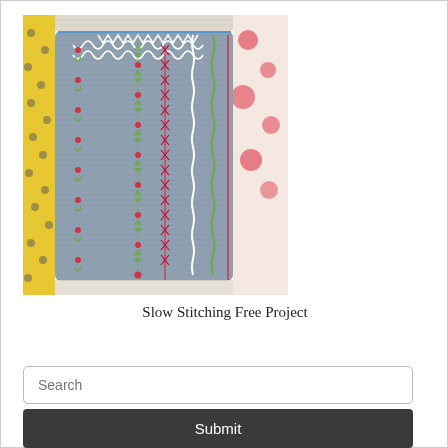[Figure (photo): A denim/gray zippered pouch decorated with various hand embroidery stitches in white, red/pink, and green thread arranged in vertical rows, including floral motifs, cross-stitches, chain stitches, and vine patterns. The pouch is displayed against colorful fabric backgrounds including yellow with polka dots and floral prints.]
Slow Stitching Free Project
Search
Submit